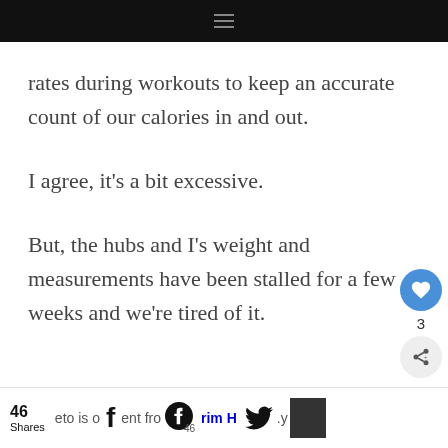☰
rates during workouts to keep an accurate count of our calories in and out.
I agree, it's a bit excessive.
But, the hubs and I's weight and measurements have been stalled for a few weeks and we're tired of it.
46 Shares  [Facebook icon]  [Pinterest icon] 46  rim H  [Twitter icon]  .y